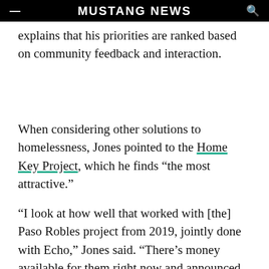MUSTANG NEWS
explains that his priorities are ranked based on community feedback and interaction.
When considering other solutions to homelessness, Jones pointed to the Home Key Project, which he finds “the most attractive.”
“I look at how well that worked with [the] Paso Robles project from 2019, jointly done with Echo,” Jones said. “There’s money available for them right now and announced last week there are over $70 million to fund these types of projects.”